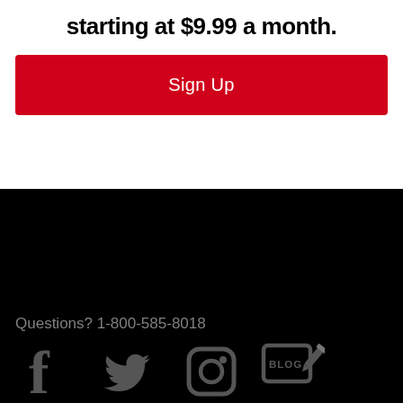starting at $9.99 a month.
Sign Up
Questions? 1-800-585-8018
[Figure (illustration): Social media icons: Facebook, Twitter, Instagram, Blog]